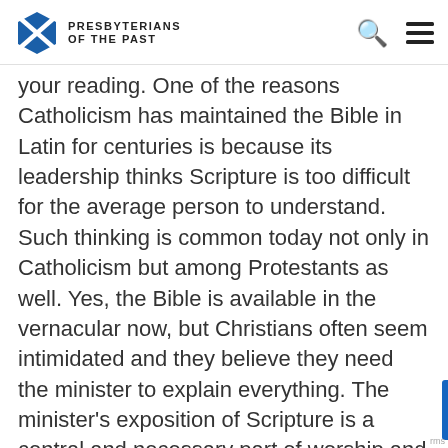Presbyterians of the Past
your reading. One of the reasons Catholicism has maintained the Bible in Latin for centuries is because its leadership thinks Scripture is too difficult for the average person to understand. Such thinking is common today not only in Catholicism but among Protestants as well. Yes, the Bible is available in the vernacular now, but Christians often seem intimidated and they believe they need the minister to explain everything. The minister's exposition of Scripture is a central and necessary part of worship and fellowship, but family and personal Bible reading is an important part of the Christian life. If you